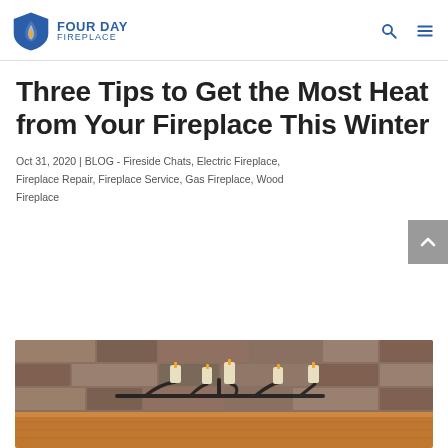FOUR DAY FIREPLACE
Three Tips to Get the Most Heat from Your Fireplace This Winter
Oct 31, 2020 | BLOG - Fireside Chats, Electric Fireplace, Fireplace Repair, Fireplace Service, Gas Fireplace, Wood Fireplace
[Figure (photo): Photo of a fireplace mantle with stone surround and a candelabra with multiple candles on a wooden mantle shelf]